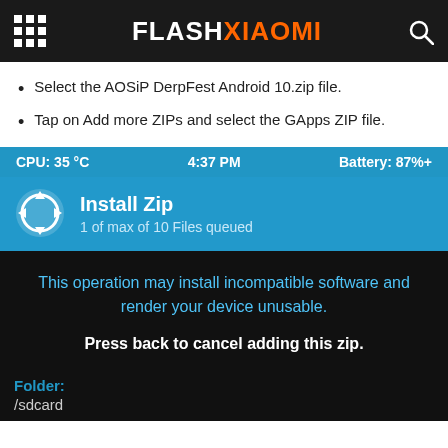FLASHXIAOMI
Select the AOSiP DerpFest Android 10.zip file.
Tap on Add more ZIPs and select the GApps ZIP file.
[Figure (screenshot): Android recovery screen showing Install Zip menu with status bar showing CPU: 35°C, 4:37 PM, Battery: 87%+, and a warning message 'This operation may install incompatible software and render your device unusable. Press back to cancel adding this zip.' with Folder: /sdcard shown at bottom.]